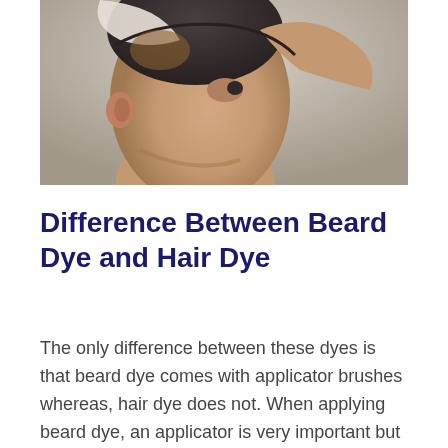[Figure (photo): A man applying hair dye to his head, viewed from the side. He is raising his arm toward his head. The image is a close-up showing the side profile of his face and arm.]
Difference Between Beard Dye and Hair Dye
The only difference between these dyes is that beard dye comes with applicator brushes whereas, hair dye does not. When applying beard dye, an applicator is very important but